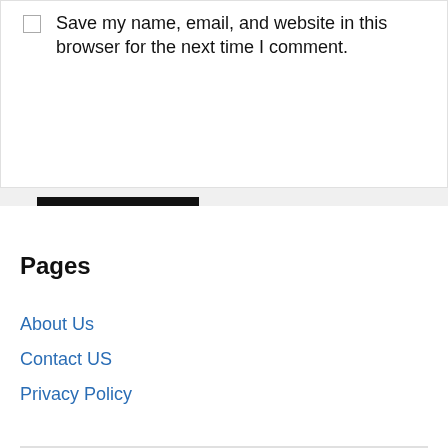Save my name, email, and website in this browser for the next time I comment.
Post Comment
Pages
About Us
Contact US
Privacy Policy